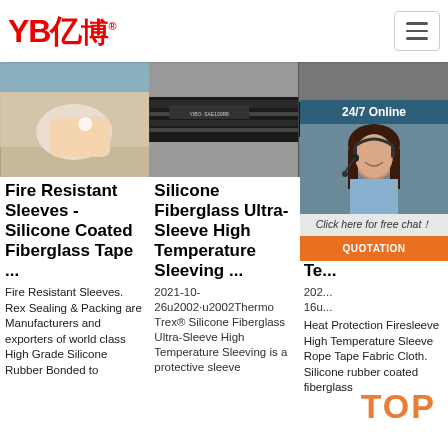[Figure (logo): YB亿博 logo in red with registered trademark symbol]
[Figure (photo): Three product photos: silicone tape held in hand, black hose with YIBO SAE100R8 label, black tube/pipe]
[Figure (photo): 24/7 Online chat overlay with woman wearing headset, Click here for free chat prompt, and QUOTATION button]
Fire Resistant Sleeves - Silicone Coated Fiberglass Tape ...
Silicone Fiberglass Ultra-Sleeve High Temperature Sleeving ...
Ex... Pro... Fir... Hi... Te...
Fire Resistant Sleeves. Rex Sealing & Packing are Manufacturers and exporters of world class High Grade Silicone Rubber Bonded to
2021-10-26u2002·u2002Thermo Trex® Silicone Fiberglass Ultra-Sleeve High Temperature Sleeving is a protective sleeve
202... 16u... Heat Protection Firesleeve High Temperature Sleeve Rope Tape Fabric Cloth. Silicone rubber coated fiberglass